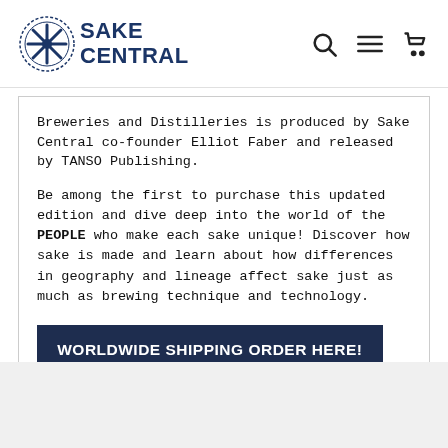SAKE CENTRAL
Breweries and Distilleries is produced by Sake Central co-founder Elliot Faber and released by TANSO Publishing.
Be among the first to purchase this updated edition and dive deep into the world of the PEOPLE who make each sake unique! Discover how sake is made and learn about how differences in geography and lineage affect sake just as much as brewing technique and technology.
WORLDWIDE SHIPPING ORDER HERE!